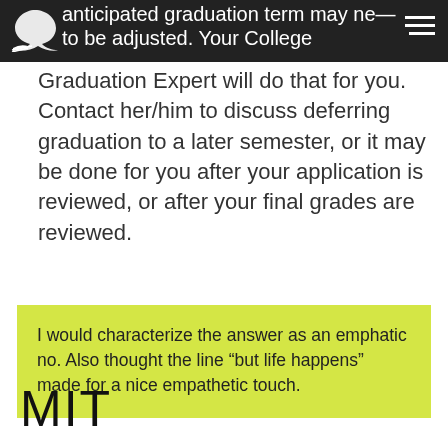anticipated graduation term may need to be adjusted. Your College Graduation Expert will do that for you.
Graduation Expert will do that for you. Contact her/him to discuss deferring graduation to a later semester, or it may be done for you after your application is reviewed, or after your final grades are reviewed.
I would characterize the answer as an emphatic no. Also thought the line “but life happens” made for a nice empathetic touch.
MIT